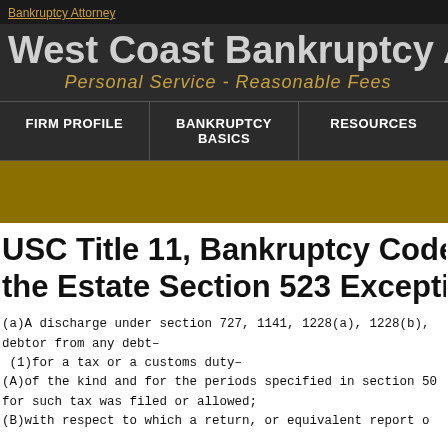Bankruptcy Attorney
West Coast Bankruptcy Atto
Personal Service - Reasonable Fees
FIRM PROFILE | BANKRUPTCY BASICS | RESOURCES
USC Title 11, Bankruptcy Code, Cha the Estate Section 523 Exceptions to
(a)A discharge under section 727, 1141, 1228(a), 1228(b), debtor from any debt– (1)for a tax or a customs duty– (A)of the kind and for the periods specified in section 50 for such tax was filed or allowed; (B)with respect to which a return, or equivalent report o